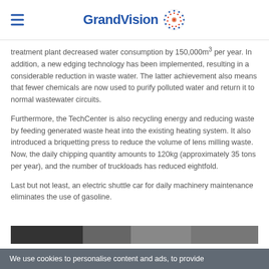GrandVision
treatment plant decreased water consumption by 150,000m³ per year. In addition, a new edging technology has been implemented, resulting in a considerable reduction in waste water. The latter achievement also means that fewer chemicals are now used to purify polluted water and return it to normal wastewater circuits.
Furthermore, the TechCenter is also recycling energy and reducing waste by feeding generated waste heat into the existing heating system. It also introduced a briquetting press to reduce the volume of lens milling waste. Now, the daily chipping quantity amounts to 120kg (approximately 35 tons per year), and the number of truckloads has reduced eightfold.
Last but not least, an electric shuttle car for daily machinery maintenance eliminates the use of gasoline.
[Figure (photo): Partial photo strip visible at bottom of content area]
We use cookies to personalise content and ads, to provide